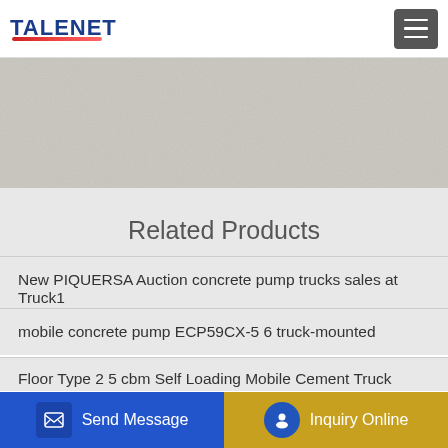TALENET
[Figure (photo): Banner/hero image area with light gray textured background]
Related Products
New PIQUERSA Auction concrete pump trucks sales at Truck1
mobile concrete pump ECP59CX-5 6 truck-mounted
Floor Type 2 5 cbm Self Loading Mobile Cement Truck Mixer
Concrete Mixer Spiral Mixing Blades For Concrete Mixing